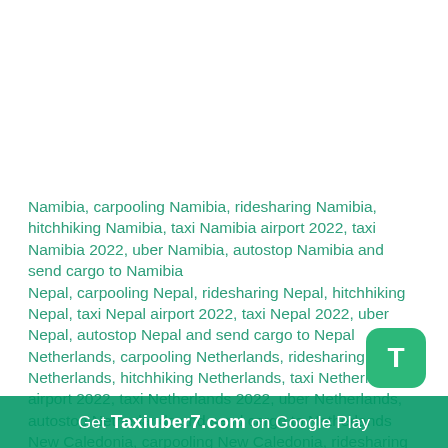Namibia, carpooling Namibia, ridesharing Namibia, hitchhiking Namibia, taxi Namibia airport 2022, taxi Namibia 2022, uber Namibia, autostop Namibia and send cargo to Namibia
Nepal, carpooling Nepal, ridesharing Nepal, hitchhiking Nepal, taxi Nepal airport 2022, taxi Nepal 2022, uber Nepal, autostop Nepal and send cargo to Nepal
Netherlands, carpooling Netherlands, ridesharing Netherlands, hitchhiking Netherlands, taxi Netherlands airport 2022, taxi Netherlands 2022, uber Netherlands, autostop Netherlands and send cargo to Netherlands
New Caledonia, carpooling New Caledonia, ridesharing New Caledonia, hitchhiking New Caledonia, taxi New Caledonia airport 2022, taxi New
Get Taxiuber7.com on Google Play